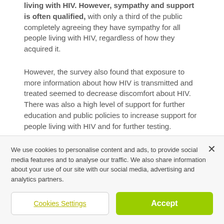living with HIV. However, sympathy and support is often qualified, with only a third of the public completely agreeing they have sympathy for all people living with HIV, regardless of how they acquired it.
However, the survey also found that exposure to more information about how HIV is transmitted and treated seemed to decrease discomfort about HIV. There was also a high level of support for further education and public policies to increase support for people living with HIV and for further testing.
Get Involved This World AIDS Day
We use cookies to personalise content and ads, to provide social media features and to analyse our traffic. We also share information about your use of our site with our social media, advertising and analytics partners.